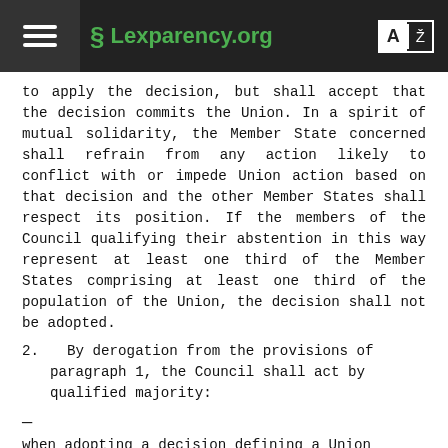§ Lexparency.org
to apply the decision, but shall accept that the decision commits the Union. In a spirit of mutual solidarity, the Member State concerned shall refrain from any action likely to conflict with or impede Union action based on that decision and the other Member States shall respect its position. If the members of the Council qualifying their abstention in this way represent at least one third of the Member States comprising at least one third of the population of the Union, the decision shall not be adopted.
2.  By derogation from the provisions of paragraph 1, the Council shall act by qualified majority:
—
when adopting a decision defining a Union action or position on the basis of a decision of the European Council relating to the Union's strategic interests and objectives, as referred to